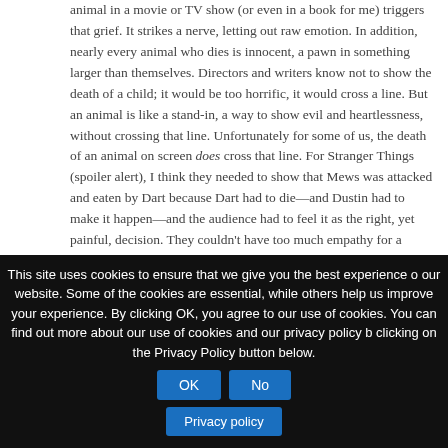animal in a movie or TV show (or even in a book for me) triggers that grief. It strikes a nerve, letting out raw emotion. In addition, nearly every animal who dies is innocent, a pawn in something larger than themselves. Directors and writers know not to show the death of a child; it would be too horrific, it would cross a line. But an animal is like a stand-in, a way to show evil and heartlessness, without crossing that line. Unfortunately for some of us, the death of an animal on screen does cross that line. For Stranger Things (spoiler alert), I think they needed to show that Mews was attacked and eaten by Dart because Dart had to die—and Dustin had to make it happen—and the audience had to feel it as the right, yet painful, decision. They couldn't have too much empathy for a demogorgon.
I think you made a wise decision to not watch the rest of
This site uses cookies to ensure that we give you the best experience on our website. Some of the cookies are essential, while others help us improve your experience. By clicking OK, you agree to our use of cookies. You can find out more about our use of cookies and our privacy policy by clicking on the Privacy Policy button below.